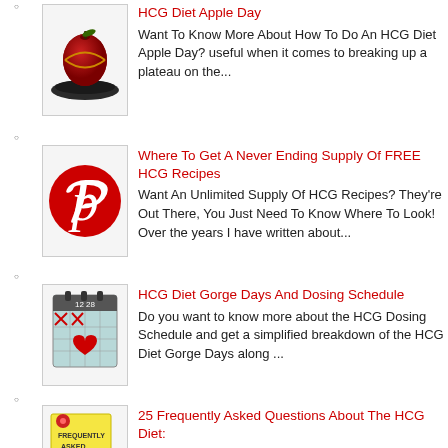HCG Diet Apple Day
Want To Know More About How To Do An HCG Diet Apple Day? useful when it comes to breaking up a plateau on the...
Where To Get A Never Ending Supply Of FREE HCG Recipes
Want An Unlimited Supply Of HCG Recipes? They're Out There, You Just Need To Know Where To Look! Over the years I have written about...
HCG Diet Gorge Days And Dosing Schedule
Do you want to know more about the HCG Dosing Schedule and get a simplified breakdown of the HCG Diet Gorge Days along ...
25 Frequently Asked Questions About The HCG Diet:
Are you ready for some Q and A about the HCG Weight Loss Diet? reading Dr. Simeons' Pounds And Inches should tell ...